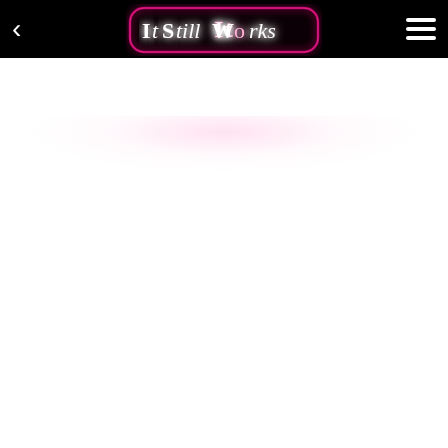ItStillWorks
[Figure (screenshot): Mobile app screenshot showing the ItStillWorks website header. Black navigation bar with a white back arrow chevron on the left, the ItStillWorks logo in the center (stylized neon pink text in a rounded rectangle), and a white hamburger menu icon on the right. Below the header is a white page body with a faint pink glow emanating from the logo area.]